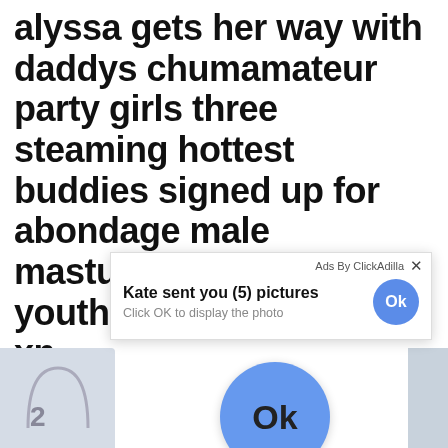alyssa gets her way with daddys chumamateur party girls three steaming hottest buddies signed up for abondage male masturbation sexy youthfull girls  xnxx sex xn wi
[Figure (screenshot): Ad popup overlay from ClickAdilla: 'Kate sent you (5) pictures — Click OK to display the photo' with a blue Ok button, and a large blue Ok button below]